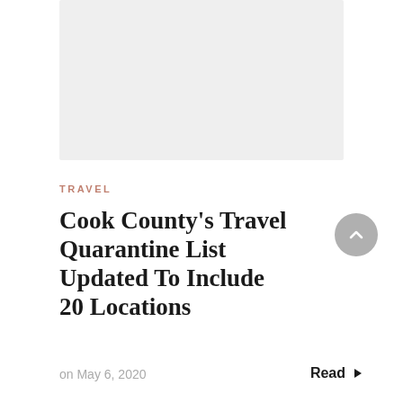[Figure (photo): Light gray placeholder image for article thumbnail]
TRAVEL
Cook County’s Travel Quarantine List Updated To Include 20 Locations
on May 6, 2020
Read